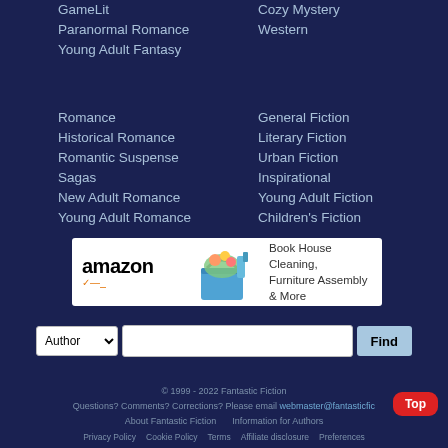GameLit
Cozy Mystery
Paranormal Romance
Western
Young Adult Fantasy
Romance
General Fiction
Historical Romance
Literary Fiction
Romantic Suspense
Urban Fiction
Sagas
Inspirational
New Adult Romance
Young Adult Fiction
Young Adult Romance
Children's Fiction
[Figure (screenshot): Amazon advertisement banner: 'Book House Cleaning, Furniture Assembly & More' with amazon logo and cleaning supplies image]
Author [dropdown] [text input] Find
© 1999 - 2022 Fantastic Fiction
Questions? Comments? Corrections? Please email webmaster@fantasticfiction
About Fantastic Fiction    Information for Authors
Privacy Policy    Cookie Policy    Terms    Affiliate disclosure    Preferences